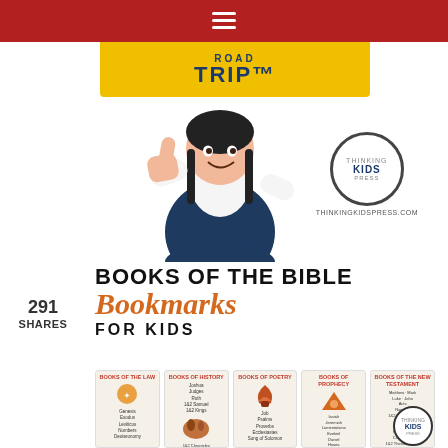☰ (navigation menu bar)
[Figure (photo): Girl giving thumbs up wearing navy dress, Road Trip banner in yellow above her, Thinking Kids Press logo to her right]
291
SHARES
BOOKS OF THE BIBLE Bookmarks FOR KIDS
[Figure (illustration): Preview of Books of the Bible bookmarks for kids showing multiple illustrated bookmark cards with lists of Bible books]